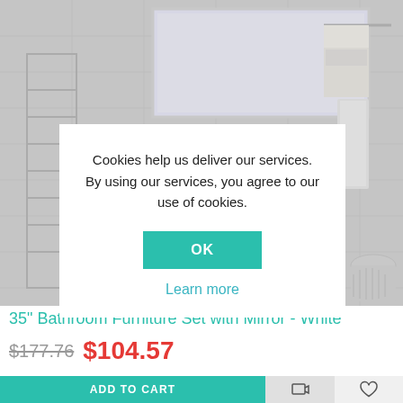[Figure (photo): Bathroom interior with white tiled walls, a mirror, towel rail with hanging towels, and a laundry basket]
Cookies help us deliver our services. By using our services, you agree to our use of cookies.
OK
Learn more
35" Bathroom Furniture Set with Mirror - White
$177.76  $104.57
ADD TO CART